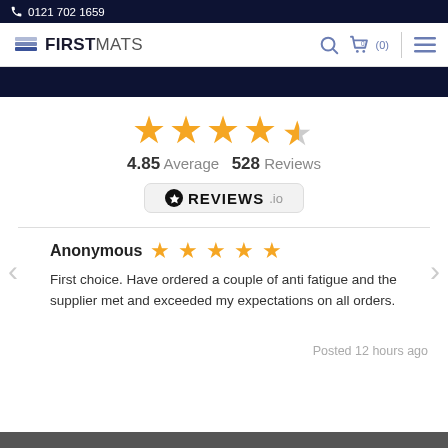📞 0121 702 1659
[Figure (logo): First Mats logo with layered squares icon and text FIRSTMATS]
4.85 Average  528 Reviews
[Figure (logo): REVIEWS.io badge logo]
Anonymous
First choice. Have ordered a couple of anti fatigue and the supplier met and exceeded my expectations on all orders.
Posted 12 hours ago